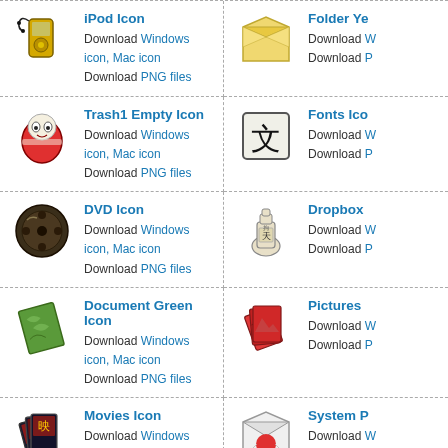iPod Icon - Download Windows icon, Mac icon, Download PNG files
Folder Ye... - Download Windows icon, Mac icon, Download PNG files
Trash1 Empty Icon - Download Windows icon, Mac icon, Download PNG files
Fonts Ico... - Download Windows icon, Mac icon, Download PNG files
DVD Icon - Download Windows icon, Mac icon, Download PNG files
Dropbox - Download Windows icon, Mac icon, Download PNG files
Document Green Icon - Download Windows icon, Mac icon, Download PNG files
Pictures ... - Download Windows icon, Mac icon, Download PNG files
Movies Icon - Download Windows icon, Mac icon, Download PNG files
System P... - Download Windows icon, Mac icon, Download PNG files
Browse All Icons in This Icon Set
Sponsored Links